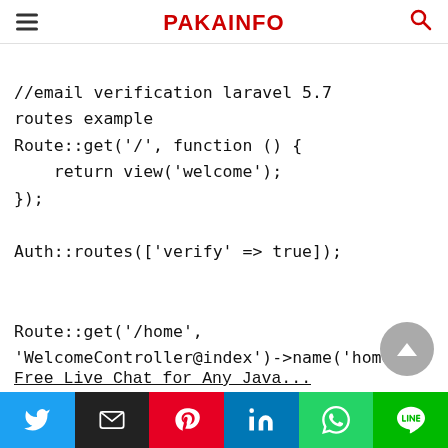PAKAINFO
//email verification laravel 5.7 routes example
Route::get('/', function () {
    return view('welcome');
});

Auth::routes(['verify' => true]);


Route::get('/home',
'WelcomeController@index')->name('home');
Free Live Chat for Any Java...
Twitter | Email | Pinterest | LinkedIn | WhatsApp | LINE